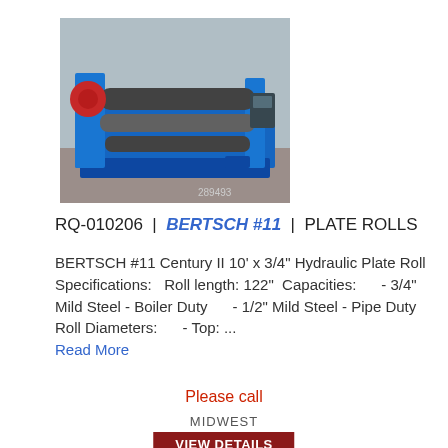[Figure (photo): Industrial plate roll machine (Bertsch #11) in a factory setting, shown on a blue frame with large metal rollers, photo number 289493]
RQ-010206  |  BERTSCH #11  |  PLATE ROLLS
BERTSCH #11 Century II 10' x 3/4" Hydraulic Plate Roll Specifications:   Roll length: 122"  Capacities:      - 3/4" Mild Steel - Boiler Duty      - 1/2" Mild Steel - Pipe Duty  Roll Diameters:      - Top: ...
Read More
Please call
MIDWEST
VIEW DETAILS